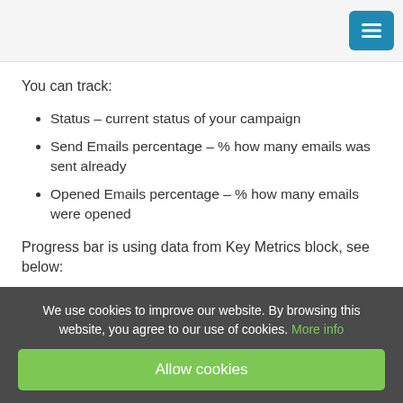You can track:
Status – current status of your campaign
Send Emails percentage – % how many emails was sent already
Opened Emails percentage – % how many emails were opened
Progress bar is using data from Key Metrics block, see below:
[Figure (screenshot): Screenshot of Key Metrics block with labeled boxes, with a close X button on the right]
We use cookies to improve our website. By browsing this website, you agree to our use of cookies. More info
Allow cookies